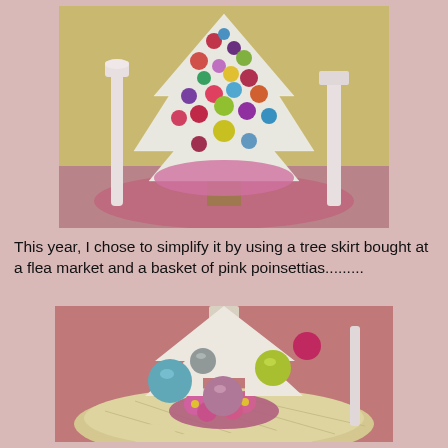[Figure (photo): A decorated white Christmas tree covered in colorful ornaments including pink, purple, green, and gold balls, with a pink tree skirt base, surrounded by other decorations on a table.]
This year, I chose to simplify it by using a tree skirt bought at a flea market and a basket of pink poinsettias.........
[Figure (photo): Close-up of the base of a white flocked Christmas tree with colorful ornaments (teal, mauve/pink, yellow-green) resting on a cream/gold quilted tree skirt, surrounded by pink poinsettia basket and pink fabric.]